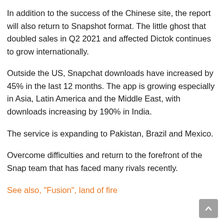In addition to the success of the Chinese site, the report will also return to Snapshot format. The little ghost that doubled sales in Q2 2021 and affected Dictok continues to grow internationally.
Outside the US, Snapchat downloads have increased by 45% in the last 12 months. The app is growing especially in Asia, Latin America and the Middle East, with downloads increasing by 190% in India.
The service is expanding to Pakistan, Brazil and Mexico.
Overcome difficulties and return to the forefront of the Snap team that has faced many rivals recently.
See also, "Fusion", land of fire